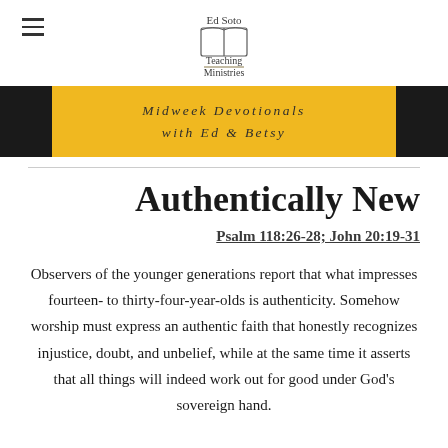Ed Soto Teaching Ministries
[Figure (logo): Ed Soto Teaching Ministries logo with open book icon]
Midweek Devotionals
with Ed & Betsy
Authentically New
Psalm 118:26-28; John 20:19-31
Observers of the younger generations report that what impresses fourteen- to thirty-four-year-olds is authenticity. Somehow worship must express an authentic faith that honestly recognizes injustice, doubt, and unbelief, while at the same time it asserts that all things will indeed work out for good under God's sovereign hand.